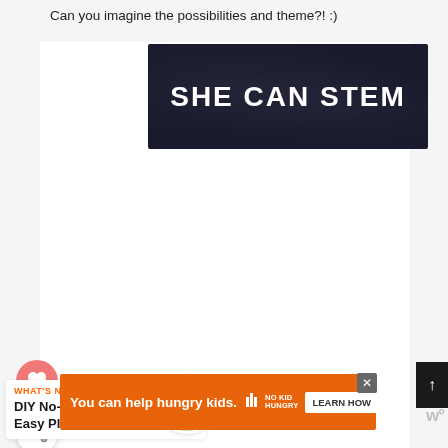Can you imagine the possibilities and theme?! :)
[Figure (screenshot): Dark banner with white bold text reading 'SHE CAN STEM']
[Figure (screenshot): Pink circular heart button and white circular share button on the left side]
[Figure (screenshot): What's Next section with label 'WHAT'S NEXT →', title 'DIY No-Sew Easy Plush...' and a circular thumbnail image of colorful plush figures]
[Figure (screenshot): Orange advertisement banner: 'You can help hungry kids.' with No Kid Hungry logo and 'LEARN HOW' button]